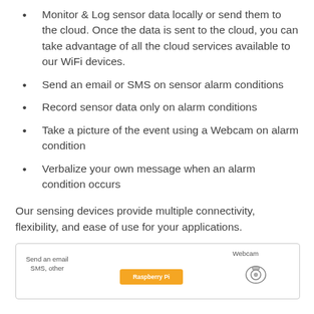Monitor & Log sensor data locally or send them to the cloud. Once the data is sent to the cloud, you can take advantage of all the cloud services available to our WiFi devices.
Send an email or SMS on sensor alarm conditions
Record sensor data only on alarm conditions
Take a picture of the event using a Webcam on alarm condition
Verbalize your own message when an alarm condition occurs
Our sensing devices provide multiple connectivity, flexibility, and ease of use for your applications.
[Figure (schematic): Diagram showing connectivity: 'Send an email SMS other' on the left, a Raspberry Pi orange board in the center, and a Webcam icon on the right.]